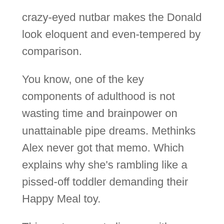crazy-eyed nutbar makes the Donald look eloquent and even-tempered by comparison.
You know, one of the key components of adulthood is not wasting time and brainpower on unattainable pipe dreams. Methinks Alex never got that memo. Which explains why she's rambling like a pissed-off toddler demanding their Happy Meal toy.
This rant seems to line up with Orthodontic-Corvette's views on factual accuracy. "Sure, my views on cow farts make me worthy of a straight jacket. Sure, banning airplanes would be a colossal failure on every conceivable front. At least I'm